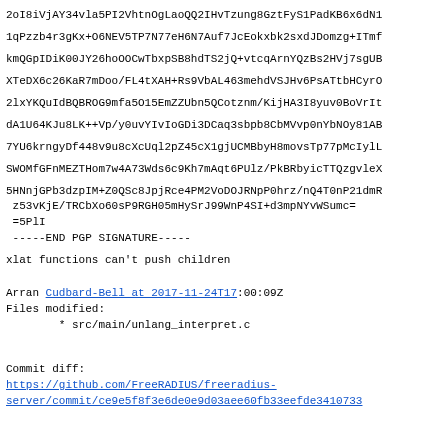2oI8iVjAY34vla5PI2VhtnOgLaoQQ2IHvTzung8GztFyS1PadKB6x6dN1
1qPzzb4r3gKx+O6NEV5TP7N77eH6N7Auf7JcEokxbk2sxdJDomzg+ITmf
kmQGpIDiK00JY26hoOOCwTbxpSB8hdTS2jQ+vtcqArnYQzBs2HVj7sgUB
XTeDX6c26KaR7mDoo/FL4tXAH+Rs9VbAL463mehdVSJHv6PsATtbHCyrO
2lxYKQuIdBQBROG9mfa5O15EmZZUbn5QCotznm/KijHA3I8yuv0BoVrIt
dA1U64KJu8LK++Vp/y0uvYIvIoGDi3DCaq3sbpb8CbMVvp0nYbNOy81AB
7YU6krngyDf448v9u8cXcUql2pZ45cX1gjUCMBbyH8movsTp77pMcIylL
SWOMfGFnMEZTHom7w4A73Wds6c9Kh7mAqt6PUlz/PkBRbyicTTQzgvleX
5HNnjGPb3dzpIM+Z0QSc8JpjRce4PM2VoDOJRNpP0hrz/nQ4T0nP21dmR
 z53vKjE/TRCbXo60sP9RGH05mHySrJ99WnP4SI+d3mpNYvWSumc=
 =5PlI
 -----END PGP SIGNATURE-----
xlat functions can't push children
Arran Cudbard-Bell at 2017-11-24T17:00:09Z
Files modified:
        * src/main/unlang_interpret.c
Commit diff:
https://github.com/FreeRADIUS/freeradius-server/commit/ce9e5f8f3e6de0e9d03aee60fb33eefde3410733